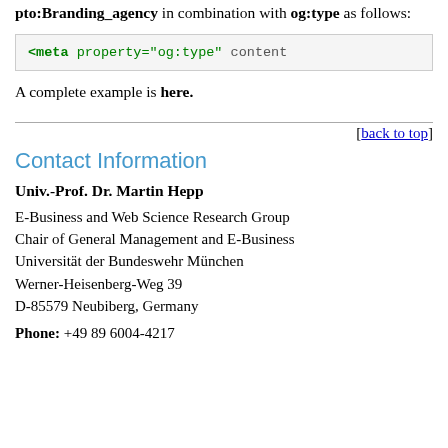pto:Branding_agency in combination with og:type as follows:
<meta property="og:type" content
A complete example is here.
[back to top]
Contact Information
Univ.-Prof. Dr. Martin Hepp
E-Business and Web Science Research Group
Chair of General Management and E-Business
Universität der Bundeswehr München
Werner-Heisenberg-Weg 39
D-85579 Neubiberg, Germany
Phone: +49 89 6004-4217